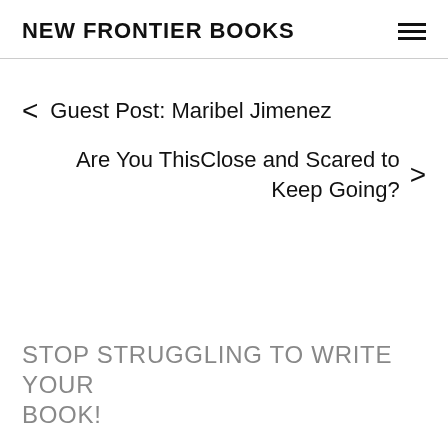NEW FRONTIER BOOKS
< Guest Post: Maribel Jimenez
Are You ThisClose and Scared to Keep Going? >
STOP STRUGGLING TO WRITE YOUR BOOK!